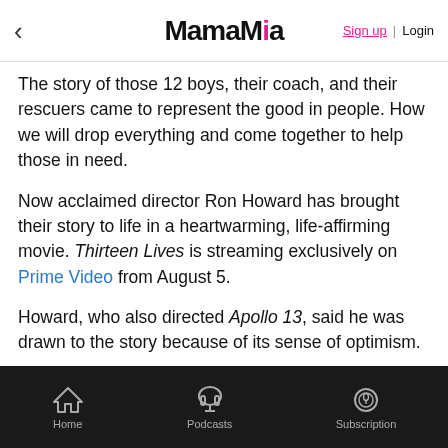MamaMia — Sign up | Login
The story of those 12 boys, their coach, and their rescuers came to represent the good in people. How we will drop everything and come together to help those in need.
Now acclaimed director Ron Howard has brought their story to life in a heartwarming, life-affirming movie. Thirteen Lives is streaming exclusively on Prime Video from August 5.
Howard, who also directed Apollo 13, said he was drawn to the story because of its sense of optimism.
"I don't think I'm naturally drawn to tragedy. I'm drawn towards the validation of optimism," he told The Guardian.
Home | Podcasts | Subscription